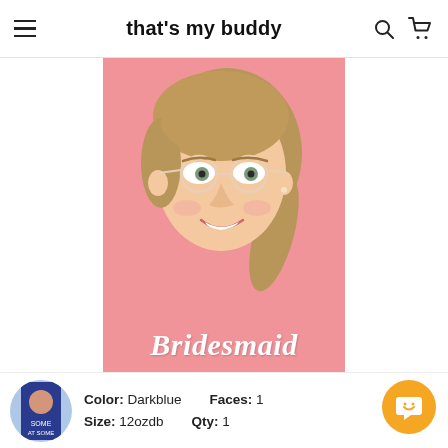that's my buddy
[Figure (photo): Pink product card featuring a woman's face (smiling, wearing round glasses, with blonde-brown hair) and the cursive text 'Bridesmaid' at the bottom]
Color: Darkblue   Faces: 1
Size: 12ozdb   Qty: 1